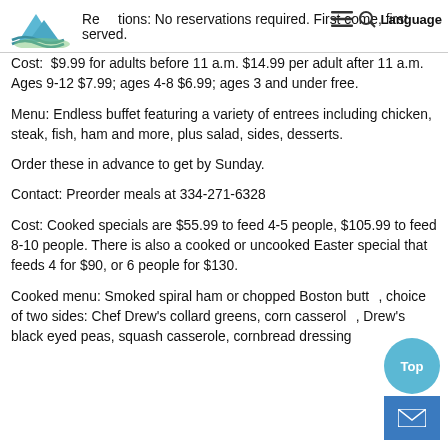Reservations: No reservations required. First come, first served.
Cost:  $9.99 for adults before 11 a.m. $14.99 per adult after 11 a.m. Ages 9-12 $7.99; ages 4-8 $6.99; ages 3 and under free.
Menu: Endless buffet featuring a variety of entrees including chicken, steak, fish, ham and more, plus salad, sides, desserts.
Order these in advance to get by Sunday.
Contact: Preorder meals at 334-271-6328
Cost: Cooked specials are $55.99 to feed 4-5 people, $105.99 to feed 8-10 people. There is also a cooked or uncooked Easter special that feeds 4 for $90, or 6 people for $130.
Cooked menu: Smoked spiral ham or chopped Boston butt, choice of two sides: Chef Drew's collard greens, corn casserole, Drew's black eyed peas, squash casserole, cornbread dressing